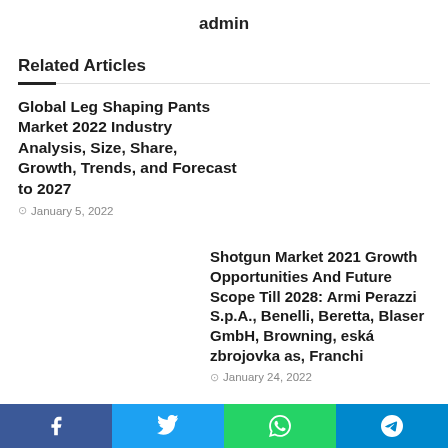admin
Related Articles
Global Leg Shaping Pants Market 2022 Industry Analysis, Size, Share, Growth, Trends, and Forecast to 2027
January 5, 2022
Shotgun Market 2021 Growth Opportunities And Future Scope Till 2028: Armi Perazzi S.p.A., Benelli, Beretta, Blaser GmbH, Browning, eská zbrojovka as, Franchi
January 24, 2022